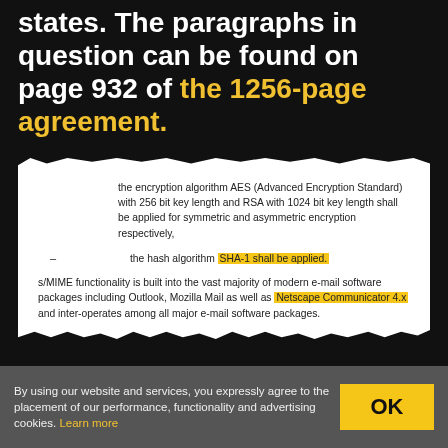states. The paragraphs in question can be found on page 932 of the 1256-page agreement.
[Figure (other): Torn paper excerpt showing legal document text about encryption algorithms (AES/RSA) and hash algorithm SHA-1, with highlighted text 'SHA-1 shall be applied' and 'Netscape Communicator 4.x']
It's likely that some readers under 30 years old will never have used a Netscape product even though they will be familiar with Firefox, the
By using our website and services, you expressly agree to the placement of our performance, functionality and advertising cookies. Learn more